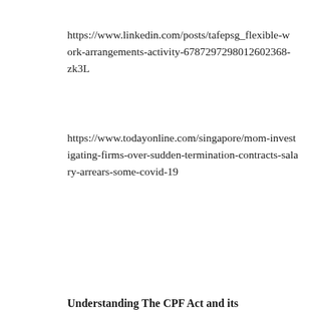https://www.linkedin.com/posts/tafepsg_flexible-work-arrangements-activity-6787297298012602368-zk3L
https://www.todayonline.com/singapore/mom-investigating-firms-over-sudden-termination-contracts-salary-arrears-some-covid-19
Understanding The CPF Act and its